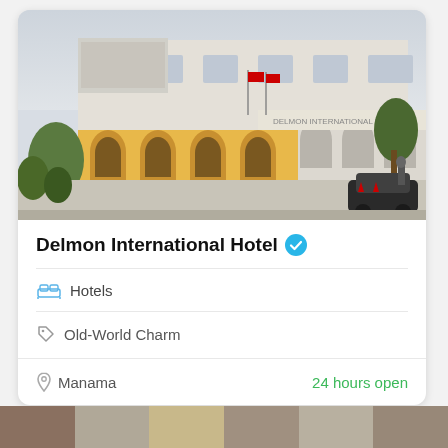[Figure (photo): Exterior photo of Delmon International Hotel building showing a multi-story structure with arched windows, yellow facade, Arabic signage, flags, and trees]
Delmon International Hotel ✓
Hotels
Old-World Charm
Manama
24 hours open
[Figure (photo): Bottom strip showing partial thumbnails of additional hotel photos]